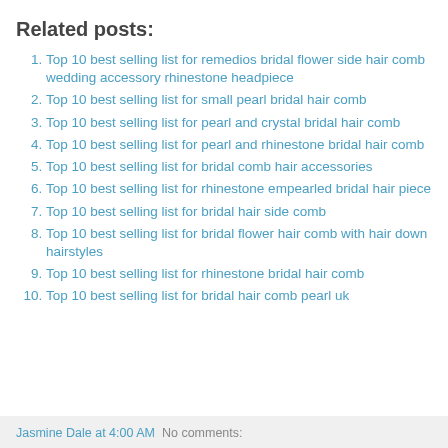Related posts:
Top 10 best selling list for remedios bridal flower side hair comb wedding accessory rhinestone headpiece
Top 10 best selling list for small pearl bridal hair comb
Top 10 best selling list for pearl and crystal bridal hair comb
Top 10 best selling list for pearl and rhinestone bridal hair comb
Top 10 best selling list for bridal comb hair accessories
Top 10 best selling list for rhinestone empearled bridal hair piece
Top 10 best selling list for bridal hair side comb
Top 10 best selling list for bridal flower hair comb with hair down hairstyles
Top 10 best selling list for rhinestone bridal hair comb
Top 10 best selling list for bridal hair comb pearl uk
Jasmine Dale at 4:00 AM   No comments: